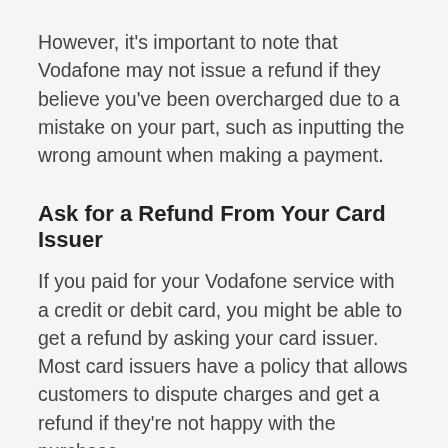However, it's important to note that Vodafone may not issue a refund if they believe you've been overcharged due to a mistake on your part, such as inputting the wrong amount when making a payment.
Ask for a Refund From Your Card Issuer
If you paid for your Vodafone service with a credit or debit card, you might be able to get a refund by asking your card issuer. Most card issuers have a policy that allows customers to dispute charges and get a refund if they're not happy with the purchase.
You'll need to contact your card issuer and tell them